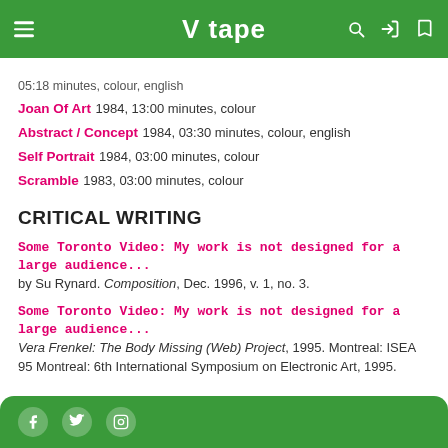V tape
05:18 minutes, colour, english
Joan Of Art  1984, 13:00 minutes, colour
Abstract / Concept  1984, 03:30 minutes, colour, english
Self Portrait  1984, 03:00 minutes, colour
Scramble  1983, 03:00 minutes, colour
CRITICAL WRITING
Some Toronto Video: My work is not designed for a large audience...
by Su Rynard. Composition, Dec. 1996, v. 1, no. 3.
Some Toronto Video: My work is not designed for a large audience...
Vera Frenkel: The Body Missing (Web) Project, 1995. Montreal: ISEA 95 Montreal: 6th International Symposium on Electronic Art, 1995.